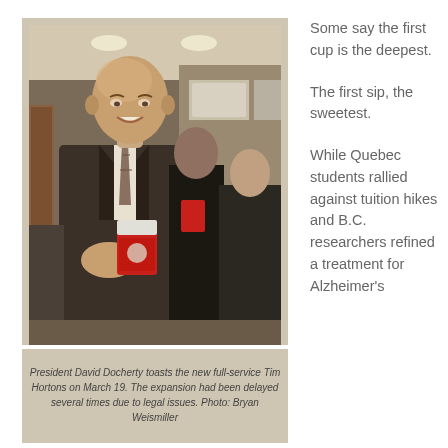[Figure (photo): President David Docherty holding a Tim Hortons cup inside a Tim Hortons restaurant, smiling at the camera. Other people are visible in the background also holding cups.]
President David Docherty toasts the new full-service Tim Hortons on March 19. The expansion had been delayed several times due to legal issues. Photo: Bryan Weismiller
Some say the first cup is the deepest.
The first sip, the sweetest.
While Quebec students rallied against tuition hikes and B.C. researchers refined a treatment for Alzheimer's